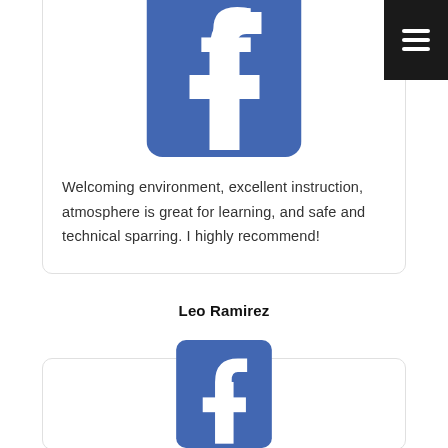[Figure (logo): Facebook logo (blue rounded square with white 'f') — top card header]
Welcoming environment, excellent instruction, atmosphere is great for learning, and safe and technical sparring. I highly recommend!
Leo Ramirez
[Figure (logo): Facebook logo (blue rounded square with white 'f') — bottom card header, partially visible]